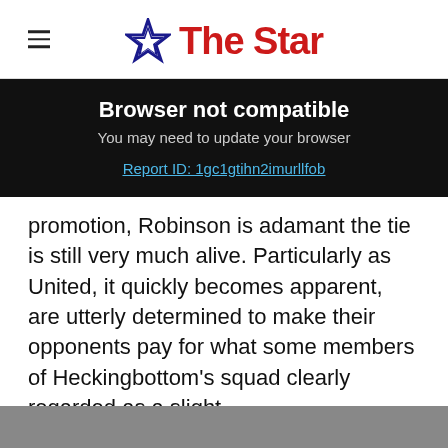The Star
Browser not compatible
You may need to update your browser
Report ID: 1gc1gtihn2imurllfob
promotion, Robinson is adamant the tie is still very much alive. Particularly as United, it quickly becomes apparent, are utterly determined to make their opponents pay for what some members of Heckingbottom's squad clearly regarded as a slight.